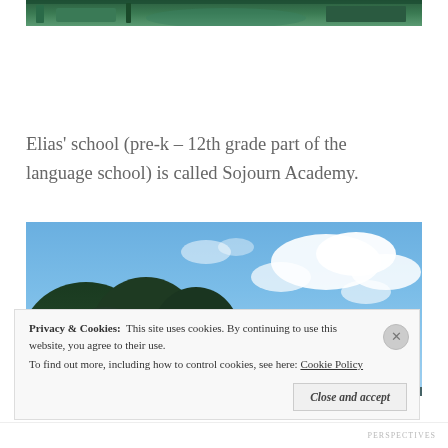[Figure (photo): Top portion of an outdoor photo, showing green foliage/playground area cropped at the top of the page]
Elias' school (pre-k – 12th grade part of the language school) is called Sojourn Academy.
[Figure (photo): Photo of large trees with lush dark green canopy against a bright blue sky with white clouds]
Privacy & Cookies: This site uses cookies. By continuing to use this website, you agree to their use.
To find out more, including how to control cookies, see here: Cookie Policy
Close and accept
PERSPECTIVES